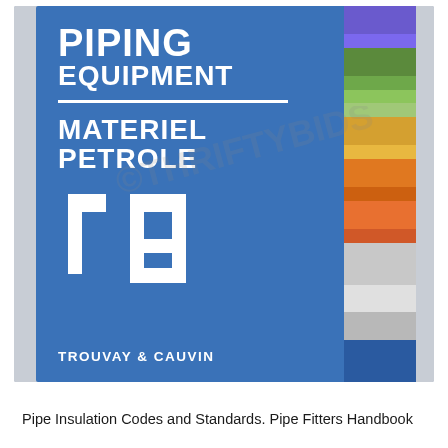[Figure (photo): Photograph of a hardcover book titled 'Piping Equipment / Materiel Petrole' by Trouvay & Cauvin, shown with a blue cover and colorful tabbed page edges, with a watermark overlay reading 'THRIFTYBIDS'.]
Pipe Insulation Codes and Standards. Pipe Fitters Handbook